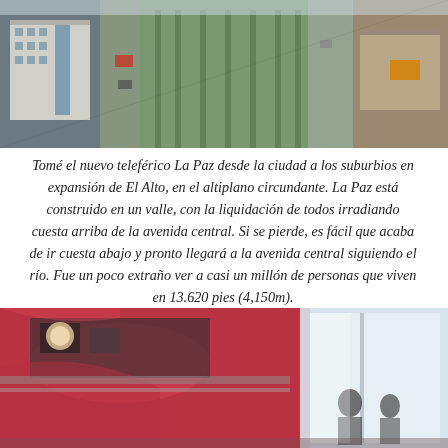[Figure (photo): Aerial view of a wide urban avenue in El Alto/La Paz area, showing multi-story buildings on the left, a central divider with green vegetation, cars and trucks on the road, and low commercial structures on the right under a clear sky.]
Tomé el nuevo teleférico La Paz desde la ciudad a los suburbios en expansión de El Alto, en el altiplano circundante. La Paz está construido en un valle, con la liquidación de todos irradiando cuesta arriba de la avenida central. Si se pierde, es fácil que acaba de ir cuesta abajo y pronto llegará a la avenida central siguiendo el río. Fue un poco extraño ver a casi un millón de personas que viven en 13.620 pies (4,150m).
[Figure (photo): Interior or close-up view of a red vehicle (possibly a cable car or bus), showing mechanical components and reflective red panels, with a bright window and two people visible in the background on the right side.]